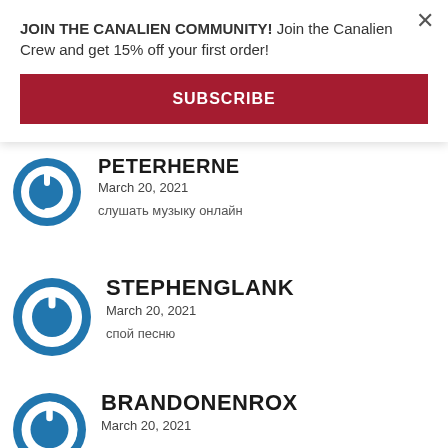JOIN THE CANALIEN COMMUNITY! Join the Canalien Crew and get 15% off your first order!
SUBSCRIBE
PETERHERNE
March 20, 2021
слушать музыку онлайн
STEPHENGLANK
March 20, 2021
спой песню
BRANDONENROX
March 20, 2021